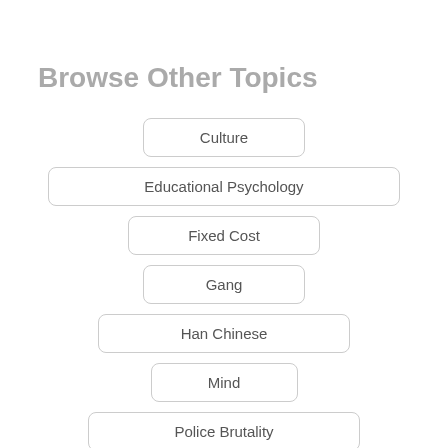Browse Other Topics
Culture
Educational Psychology
Fixed Cost
Gang
Han Chinese
Mind
Police Brutality
Teacher